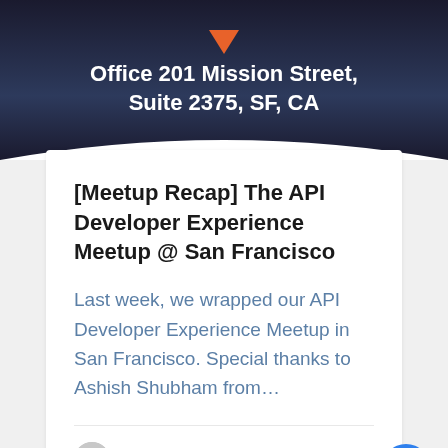[Figure (photo): Dark banner image with text 'Office 201 Mission Street, Suite 2375, SF, CA' and orange triangle/logo icon on dark navy background with white curved bottom edge]
[Meetup Recap] The API Developer Experience Meetup @ San Francisco
Last week, we wrapped our API Developer Experience Meetup in San Francisco. Special thanks to Ashish Shubham from…
NIDA | ZAMIR
JUN 06
[Figure (photo): Dark navy background image at bottom, partially visible, with subtle light gradient]